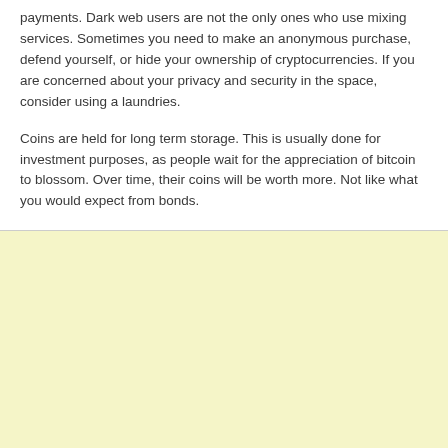payments. Dark web users are not the only ones who use mixing services. Sometimes you need to make an anonymous purchase, defend yourself, or hide your ownership of cryptocurrencies. If you are concerned about your privacy and security in the space, consider using a laundries.
Coins are held for long term storage. This is usually done for investment purposes, as people wait for the appreciation of bitcoin to blossom. Over time, their coins will be worth more. Not like what you would expect from bonds.